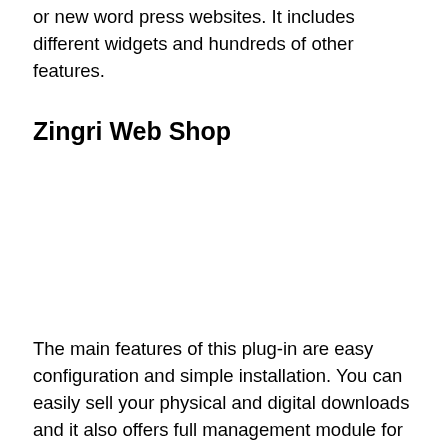or new word press websites. It includes different widgets and hundreds of other features.
Zingri Web Shop
The main features of this plug-in are easy configuration and simple installation. You can easily sell your physical and digital downloads and it also offers full management module for customers. It also offers different language libraries such as Turkish, Danish, English, and